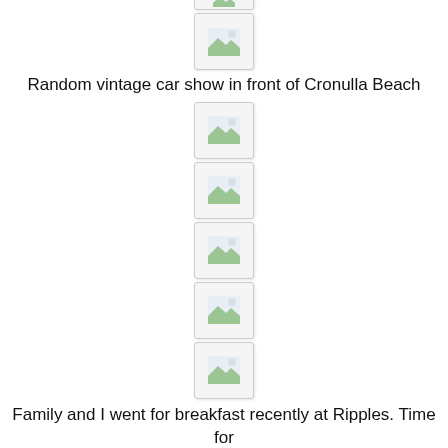[Figure (photo): Broken/missing image placeholder (top, partially visible)]
[Figure (photo): Broken/missing image placeholder]
Random vintage car show in front of Cronulla Beach
[Figure (photo): Broken/missing image placeholder]
[Figure (photo): Broken/missing image placeholder]
[Figure (photo): Broken/missing image placeholder]
[Figure (photo): Broken/missing image placeholder]
[Figure (photo): Broken/missing image placeholder]
Family and I went for breakfast recently at Ripples. Time for some tourist snaps.
[Figure (photo): Broken/missing image placeholder]
[Figure (photo): Two broken/missing image placeholders side by side]
[Figure (photo): Broken/missing image placeholder]
[Figure (photo): Broken/missing image placeholder]
My mum's home made falafel (the best!)... we call it tamiya.